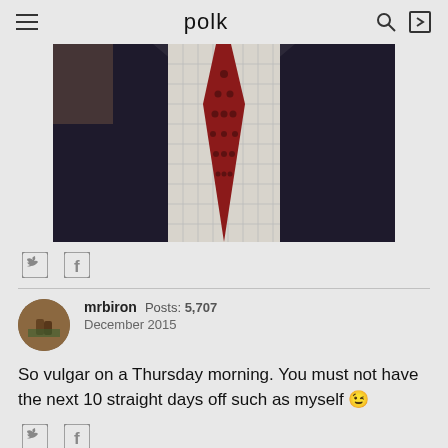polk
[Figure (photo): Close-up of a man wearing a dark navy suit jacket with a red patterned tie and a checkered dress shirt]
[Figure (other): Share icons: Twitter bird and Facebook f]
mrbiron  Posts: 5,707  December 2015
So vulgar on a Thursday morning. You must not have the next 10 straight days off such as myself 😉
[Figure (other): Share icons: Twitter bird and Facebook f]